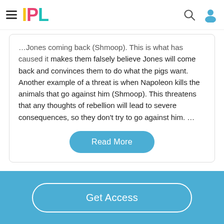IPL
...Jones coming back (Shmoop). This is what has caused it makes them falsely believe Jones will come back and convinces them to do what the pigs want. Another example of a threat is when Napoleon kills the animals that go against him (Shmoop). This threatens that any thoughts of rebellion will lead to severe consequences, so they don't try to go against him. …
Read More
Get Access